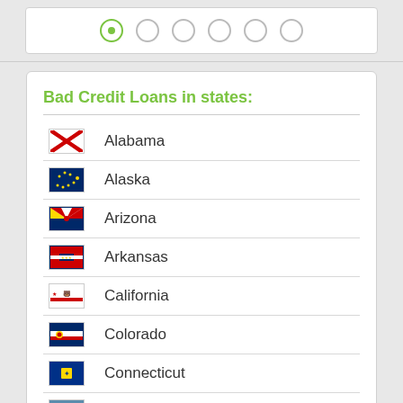Bad Credit Loans in states:
Alabama
Alaska
Arizona
Arkansas
California
Colorado
Connecticut
Delaware
Florida
Georgia